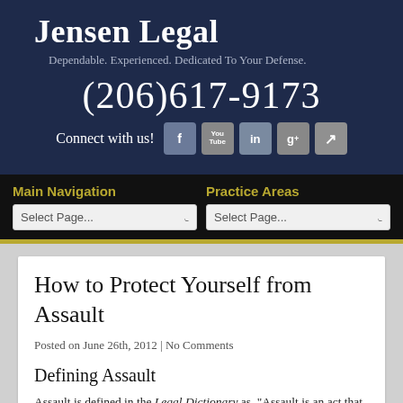Jensen Legal
Dependable. Experienced. Dedicated To Your Defense.
(206)617-9173
Connect with us!
Main Navigation
Practice Areas
How to Protect Yourself from Assault
Posted on June 26th, 2012 | No Comments
Defining Assault
Assault is defined in the Legal Dictionary as, "Assault is an act that creates an apprehension in